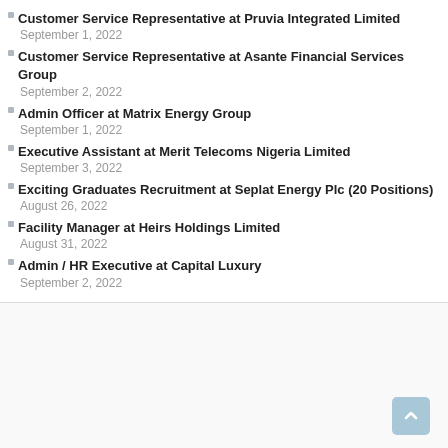Customer Service Representative at Pruvia Integrated Limited
September 1, 2022
Customer Service Representative at Asante Financial Services Group
September 2, 2022
Admin Officer at Matrix Energy Group
September 1, 2022
Executive Assistant at Merit Telecoms Nigeria Limited
September 3, 2022
Exciting Graduates Recruitment at Seplat Energy Plc (20 Positions)
August 26, 2022
Facility Manager at Heirs Holdings Limited
August 31, 2022
Admin / HR Executive at Capital Luxury
September 2, 2022